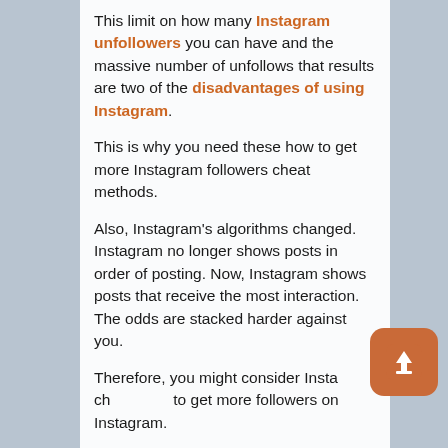This limit on how many Instagram unfollowers you can have and the massive number of unfollows that results are two of the disadvantages of using Instagram.
This is why you need these how to get more Instagram followers cheat methods.
Also, Instagram's algorithms changed. Instagram no longer shows posts in order of posting. Now, Instagram shows posts that receive the most interaction. The odds are stacked harder against you.
Therefore, you might consider Insta ch... to get more followers on Instagram.
Look: